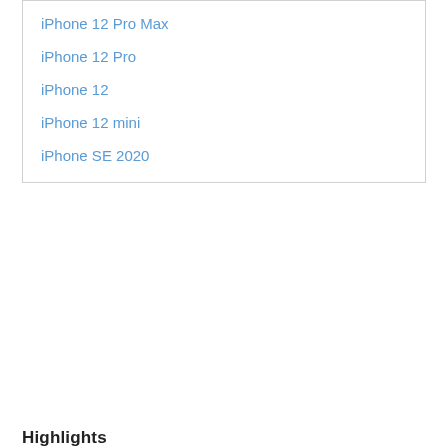iPhone 12 Pro Max
iPhone 12 Pro
iPhone 12
iPhone 12 mini
iPhone SE 2020
Highlights